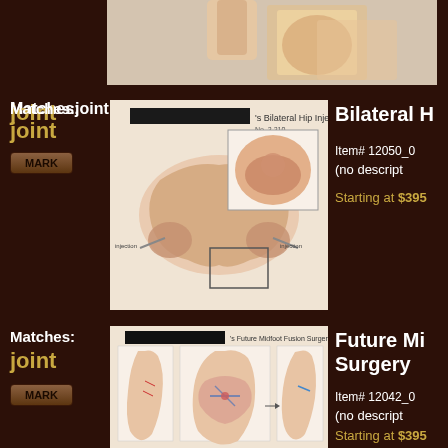[Figure (illustration): Partial medical illustration visible at top of page, showing anatomical structures]
Matches: joint
[Figure (illustration): Bilateral Hip Injections medical illustration showing pelvis with bilateral injection sites and inset closeup of hip joint]
Bilateral H
Item# 12050_0
(no descript
Starting at $395
Matches: joint
[Figure (illustration): Future Midfoot Fusion Surgery medical illustration showing foot anatomy with surgical procedure panels]
Future Mi Surgery
Item# 12042_0
(no descript
Starting at $395